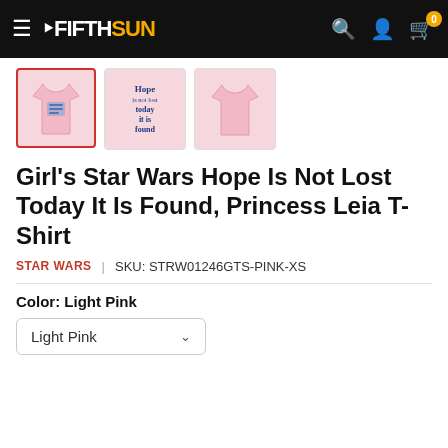Fifth Sun — Navigation bar with logo, search, account, cart (0)
[Figure (photo): Three product thumbnail images of a pink girl's Star Wars t-shirt: front view (selected, red border), graphic/text view showing 'Hope is not lost today it is found', and back view.]
Girl's Star Wars Hope Is Not Lost Today It Is Found, Princess Leia T-Shirt
STAR WARS | SKU: STRW01246GTS-PINK-XS
Color: Light Pink
Light Pink